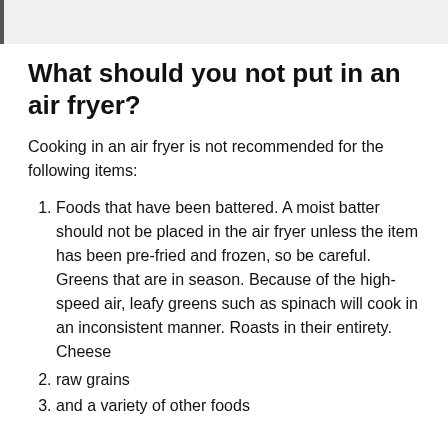What should you not put in an air fryer?
Cooking in an air fryer is not recommended for the following items:
Foods that have been battered. A moist batter should not be placed in the air fryer unless the item has been pre-fried and frozen, so be careful. Greens that are in season. Because of the high-speed air, leafy greens such as spinach will cook in an inconsistent manner. Roasts in their entirety. Cheese
raw grains
and a variety of other foods